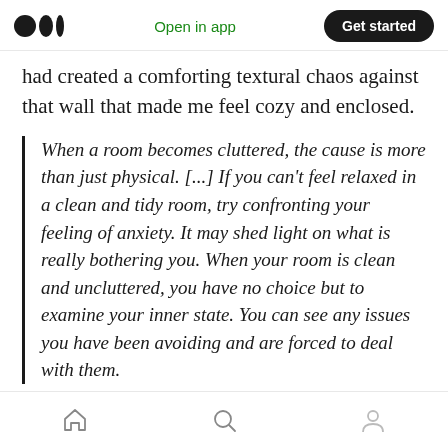Medium logo | Open in app | Get started
had created a comforting textural chaos against that wall that made me feel cozy and enclosed.
When a room becomes cluttered, the cause is more than just physical. [...] If you can't feel relaxed in a clean and tidy room, try confronting your feeling of anxiety. It may shed light on what is really bothering you. When your room is clean and uncluttered, you have no choice but to examine your inner state. You can see any issues you have been avoiding and are forced to deal with them.
Tidying is just a tool, not the final destination.
Home | Search | Profile